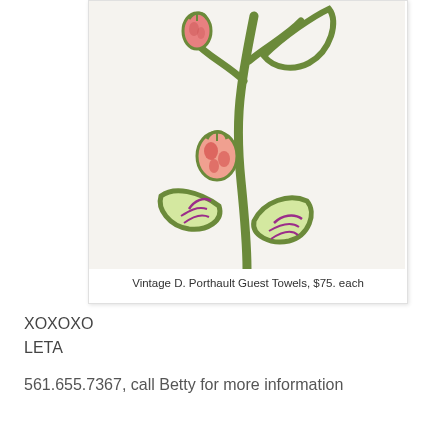[Figure (photo): Close-up photograph of embroidered vintage guest towel showing green stems and leaves with pink/red strawberry motifs and purple vein details on a white linen background]
Vintage D. Porthault Guest Towels, $75. each
XOXOXO
LETA
561.655.7367, call Betty for more information